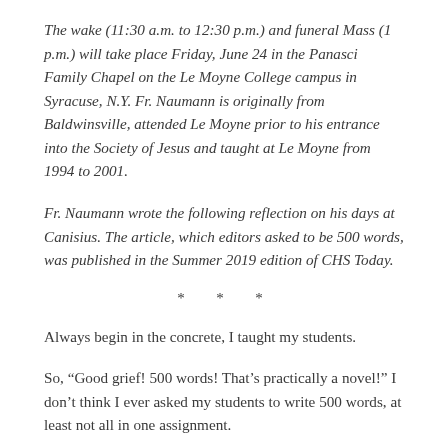The wake (11:30 a.m. to 12:30 p.m.) and funeral Mass (1 p.m.) will take place Friday, June 24 in the Panasci Family Chapel on the Le Moyne College campus in Syracuse, N.Y. Fr. Naumann is originally from Baldwinsville, attended Le Moyne prior to his entrance into the Society of Jesus and taught at Le Moyne from 1994 to 2001.
Fr. Naumann wrote the following reflection on his days at Canisius. The article, which editors asked to be 500 words, was published in the Summer 2019 edition of CHS Today.
* * *
Always begin in the concrete, I taught my students.
So, “Good grief! 500 words! That’s practically a novel!” I don’t think I ever asked my students to write 500 words, at least not all in one assignment.
Not knowing immediately where or how to begin this